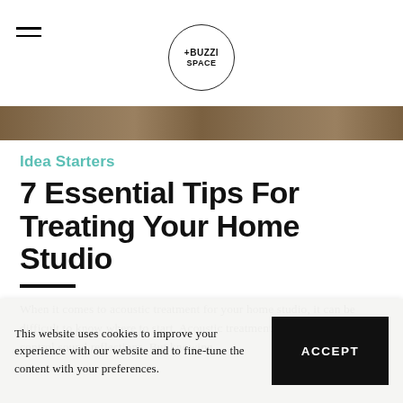+BUZZI SPACE
[Figure (photo): Cropped hero image showing wood/natural texture in brown tones]
Idea Starters
7 Essential Tips For Treating Your Home Studio
When it comes to acoustic treatment for your home studio, it can be difficult to know where to start. Acoustic treatment is commonly used to control sound reflections. But knowing...
This website uses cookies to improve your experience with our website and to fine-tune the content with your preferences.